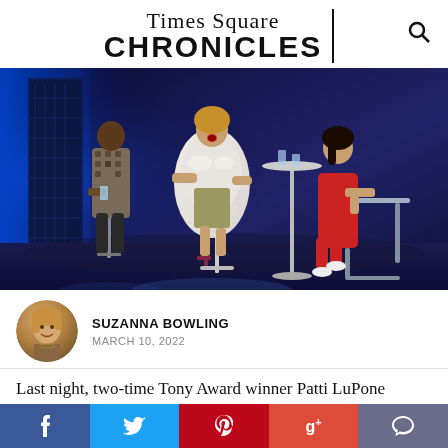Times Square CHRONICLES
[Figure (photo): Theater production scene showing three performers on a dark blue-lit stage. A man in a patterned jacket sits on a barstool on the left, a woman in a fur coat and sequined dress stands in the center with mouth open, and a woman in a red dress sits at right near a tall bar table.]
SUZANNA BOWLING
MARCH 10, 2022
Last night, two-time Tony Award winner Patti LuPone